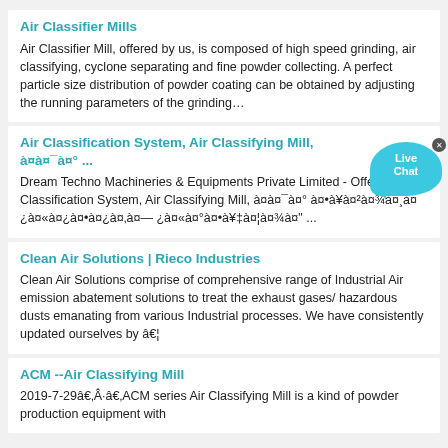Air Classifier Mills
Air Classifier Mill, offered by us, is composed of high speed grinding, air classifying, cyclone separating and fine powder collecting. A perfect particle size distribution of powder coating can be obtained by adjusting the running parameters of the grinding…
Air Classification System, Air Classifying Mill, à¤à¤¯à¤° ...
Dream Techno Machineries & Equipments Private Limited - Offering Air Classification System, Air Classifying Mill, à¤à¤¯à¤° à¤•à¥à¤²à¤¾à¤¸à¤¿à¤«à¤¿à¤•à¤¿à¤‚à¤— ...
Clean Air Solutions | Rieco Industries
Clean Air Solutions comprise of comprehensive range of Industrial Air emission abatement solutions to treat the exhaust gases/ hazardous dusts emanating from various Industrial processes. We have consistently updated ourselves by â€¦
ACM --Air Classifying Mill
2019-7-29â€‚Â·â€‚ACM series Air Classifying Mill is a kind of powder production equipment with